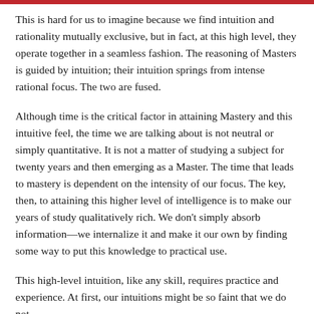This is hard for us to imagine because we find intuition and rationality mutually exclusive, but in fact, at this high level, they operate together in a seamless fashion. The reasoning of Masters is guided by intuition; their intuition springs from intense rational focus. The two are fused.
Although time is the critical factor in attaining Mastery and this intuitive feel, the time we are talking about is not neutral or simply quantitative. It is not a matter of studying a subject for twenty years and then emerging as a Master. The time that leads to mastery is dependent on the intensity of our focus. The key, then, to attaining this higher level of intelligence is to make our years of study qualitatively rich. We don't simply absorb information—we internalize it and make it our own by finding some way to put this knowledge to practical use.
This high-level intuition, like any skill, requires practice and experience. At first, our intuitions might be so faint that we do not